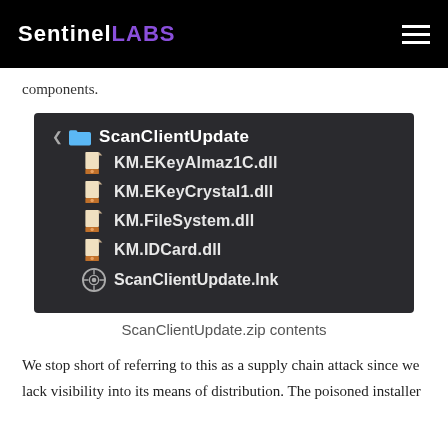SentinelLABS
components.
[Figure (screenshot): Dark-themed file explorer screenshot showing ScanClientUpdate folder expanded with files: KM.EKeyAlmaz1C.dll, KM.EKeyCrystal1.dll, KM.FileSystem.dll, KM.IDCard.dll, ScanClientUpdate.lnk]
ScanClientUpdate.zip contents
We stop short of referring to this as a supply chain attack since we lack visibility into its means of distribution. The poisoned installer